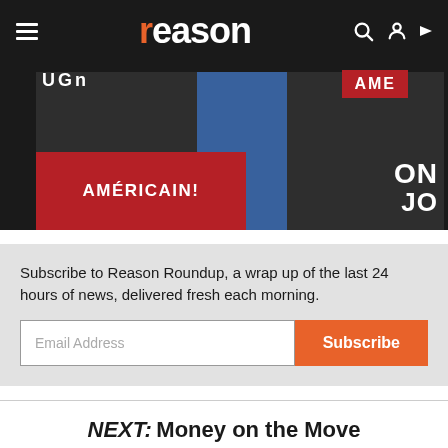reason
[Figure (photo): Protest scene with people holding signs reading 'AMÉRICAIN!' and partial text 'AMER', 'ON', 'JO' visible on placards, person in blue jacket visible in background]
Subscribe to Reason Roundup, a wrap up of the last 24 hours of news, delivered fresh each morning.
Email Address
Subscribe
NEXT:  Money on the Move
CHARLES OLIVER